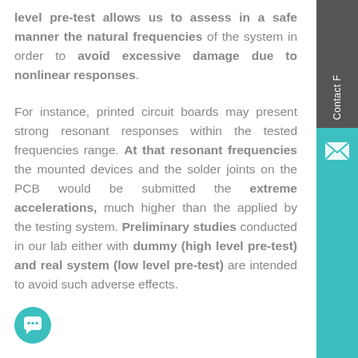level pre-test allows us to assess in a safe manner the natural frequencies of the system in order to avoid excessive damage due to nonlinear responses.
For instance, printed circuit boards may present strong resonant responses within the tested frequencies range. At that resonant frequencies the mounted devices and the solder joints on the PCB would be submitted the extreme accelerations, much higher than the applied by the testing system. Preliminary studies conducted in our lab either with dummy (high level pre-test) and real system (low level pre-test) are intended to avoid such adverse effects.